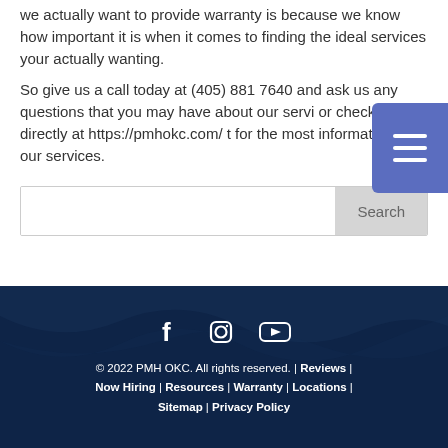we actually want to provide warranty is because we know how important it is when it comes to finding the ideal services your actually wanting.
So give us a call today at (405) 881 7640 and ask us any questions that you may have about our services, or check us out directly at https://pmhokc.com/ to for the most information on our services.
© 2022 PMH OKC. All rights reserved. | Reviews | Now Hiring | Resources | Warranty | Locations | Sitemap | Privacy Policy